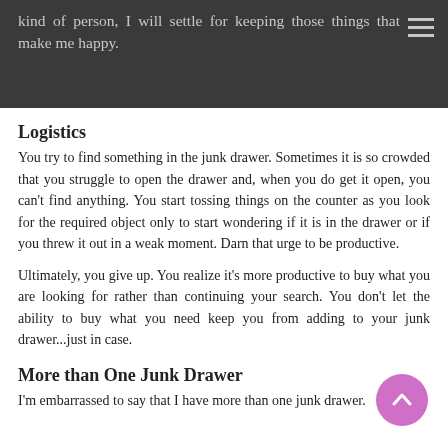kind of person, I will settle for keeping those things that make me happy.
Logistics
You try to find something in the junk drawer. Sometimes it is so crowded that you struggle to open the drawer and, when you do get it open, you can't find anything. You start tossing things on the counter as you look for the required object only to start wondering if it is in the drawer or if you threw it out in a weak moment. Darn that urge to be productive.
Ultimately, you give up. You realize it's more productive to buy what you are looking for rather than continuing your search. You don't let the ability to buy what you need keep you from adding to your junk drawer...just in case.
More than One Junk Drawer
I'm embarrassed to say that I have more than one junk drawer.